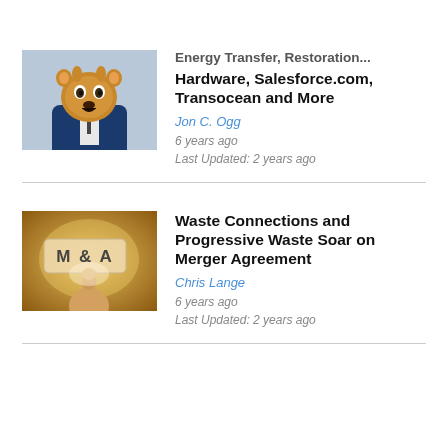[Figure (photo): Cartoon-style animal (bear/groundhog) with exaggerated expression, wearing a suit, looking alarmed]
Energy Transfer, Restoration Hardware, Salesforce.com, Transocean and More
Jon C. Ogg
6 years ago
Last Updated: 2 years ago
[Figure (photo): M&A button being pressed by a finger on a gold/brown background]
Waste Connections and Progressive Waste Soar on Merger Agreement
Chris Lange
6 years ago
Last Updated: 2 years ago